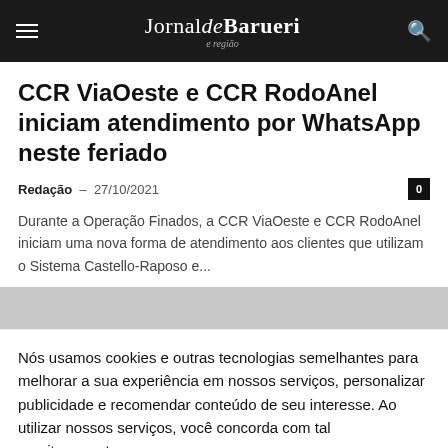Jornal de Barueri e região
CCR ViaOeste e CCR RodoAnel iniciam atendimento por WhatsApp neste feriado
Redação - 27/10/2021
Durante a Operação Finados, a CCR ViaOeste e CCR RodoAnel iniciam uma nova forma de atendimento aos clientes que utilizam o Sistema Castello-Raposo e...
Nós usamos cookies e outras tecnologias semelhantes para melhorar a sua experiência em nossos serviços, personalizar publicidade e recomendar conteúdo de seu interesse. Ao utilizar nossos serviços, você concorda com tal monitoramento.
ACEITO
Transporte